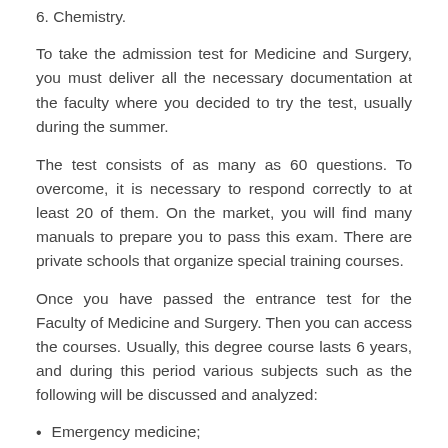6. Chemistry.
To take the admission test for Medicine and Surgery, you must deliver all the necessary documentation at the faculty where you decided to try the test, usually during the summer.
The test consists of as many as 60 questions. To overcome, it is necessary to respond correctly to at least 20 of them. On the market, you will find many manuals to prepare you to pass this exam. There are private schools that organize special training courses.
Once you have passed the entrance test for the Faculty of Medicine and Surgery. Then you can access the courses. Usually, this degree course lasts 6 years, and during this period various subjects such as the following will be discussed and analyzed:
Emergency medicine;
Obstetrics;